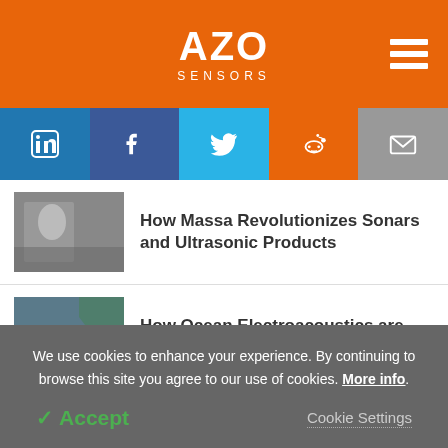AZO SENSORS
[Figure (infographic): Social media share icons: LinkedIn, Facebook, Twitter, Reddit, Email]
[Figure (photo): Black and white photo of a man working with scientific equipment]
How Massa Revolutionizes Sonars and Ultrasonic Products
[Figure (photo): Aerial ocean and coast photo]
How Ocean Electroacoustics are Evolving
We use cookies to enhance your experience. By continuing to browse this site you agree to our use of cookies. More info.
✓ Accept   Cookie Settings